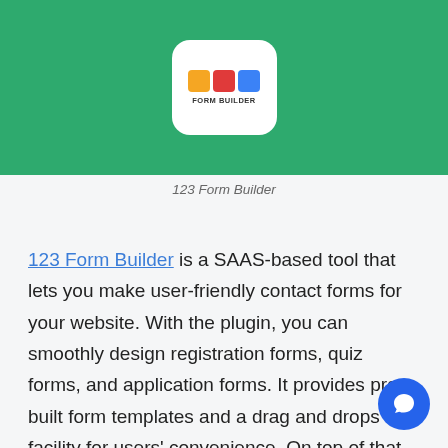[Figure (logo): 123 Form Builder logo on green background — white rounded card with three colored blocks (orange, red, blue) above the text FORM BUILDER]
123 Form Builder
123 Form Builder is a SAAS-based tool that lets you make user-friendly contact forms for your website. With the plugin, you can smoothly design registration forms, quiz forms, and application forms. It provides pre-built form templates and a drag and drops facility for users' convenience. On top of that, the plugin supp the security feature and many integrations to